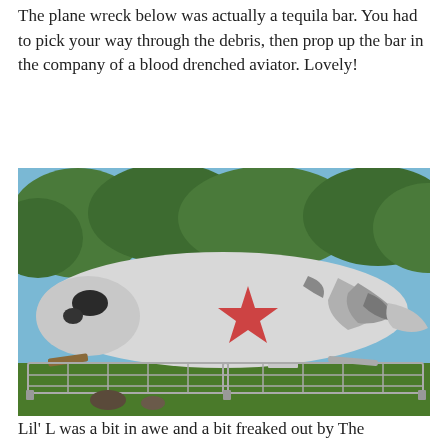The plane wreck below was actually a tequila bar. You had to pick your way through the debris, then prop up the bar in the company of a blood drenched aviator. Lovely!
[Figure (photo): A crashed white airplane with a red star logo on its fuselage, surrounded by trees and metal security barriers on grass. The plane appears heavily damaged with torn fuselage sections.]
Lil' L was a bit in awe and a bit freaked out by The